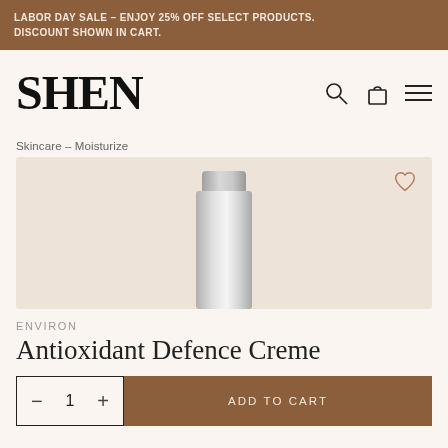LABOR DAY SALE - ENJOY 25% OFF SELECT PRODUCTS. DISCOUNT SHOWN IN CART.
[Figure (logo): SHEN brand logo in large serif bold font]
Skincare - Moisturize
[Figure (photo): Silver/metallic cylindrical skincare product bottle (Environ Antioxidant Defence Creme) on a warm beige background with a heart/wishlist icon in the top right corner]
ENVIRON
Antioxidant Defence Creme
- 1 + ADD TO CART